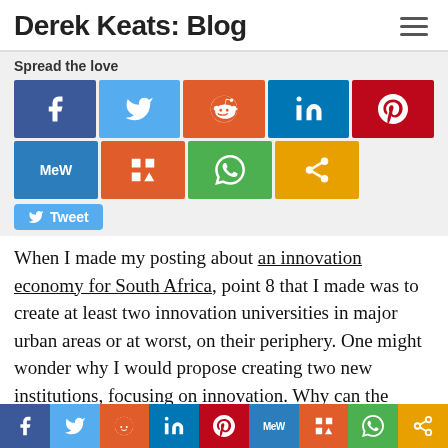Derek Keats: Blog
Spread the love
[Figure (other): Social media sharing buttons: Facebook, Twitter, Reddit, LinkedIn, Pinterest, MeWe, Mix, WhatsApp, Share, and a Tweet button]
When I made my posting about an innovation economy for South Africa, point 8 that I made was to create at least two innovation universities in major urban areas or at worst, on their periphery. One might wonder why I would propose creating two new institutions, focusing on innovation. Why can the existing institutions not do it?
While there is a lot that existing institutions can contribute, their design precludes them being truly innovative. They are effectively
[Figure (other): Bottom bar with social media sharing icons: Facebook, Twitter, Reddit, LinkedIn, Pinterest, MeWe, Mix, WhatsApp, Share]